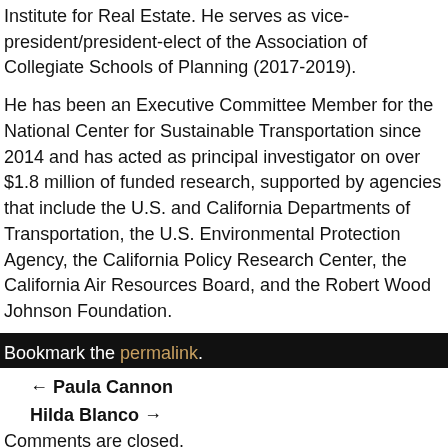Institute for Real Estate. He serves as vice-president/president-elect of the Association of Collegiate Schools of Planning (2017-2019).
He has been an Executive Committee Member for the National Center for Sustainable Transportation since 2014 and has acted as principal investigator on over $1.8 million of funded research, supported by agencies that include the U.S. and California Departments of Transportation, the U.S. Environmental Protection Agency, the California Policy Research Center, the California Air Resources Board, and the Robert Wood Johnson Foundation.
Bookmark the permalink.
← Paula Cannon
Hilda Blanco →
Comments are closed.